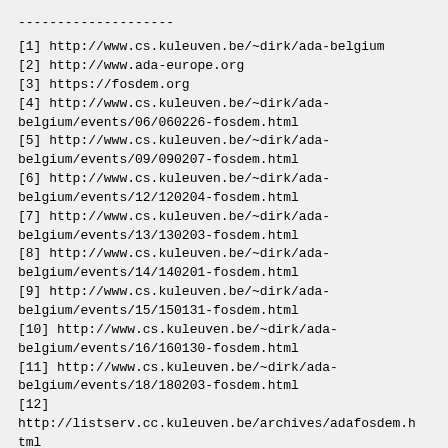--------------------
[1] http://www.cs.kuleuven.be/~dirk/ada-belgium
[2] http://www.ada-europe.org
[3] https://fosdem.org
[4] http://www.cs.kuleuven.be/~dirk/ada-belgium/events/06/060226-fosdem.html
[5] http://www.cs.kuleuven.be/~dirk/ada-belgium/events/09/090207-fosdem.html
[6] http://www.cs.kuleuven.be/~dirk/ada-belgium/events/12/120204-fosdem.html
[7] http://www.cs.kuleuven.be/~dirk/ada-belgium/events/13/130203-fosdem.html
[8] http://www.cs.kuleuven.be/~dirk/ada-belgium/events/14/140201-fosdem.html
[9] http://www.cs.kuleuven.be/~dirk/ada-belgium/events/15/150131-fosdem.html
[10] http://www.cs.kuleuven.be/~dirk/ada-belgium/events/16/160130-fosdem.html
[11] http://www.cs.kuleuven.be/~dirk/ada-belgium/events/18/180203-fosdem.html
[12] http://listserv.cc.kuleuven.be/archives/adafosdem.html
------------------------------------------------------------------------
--------------------